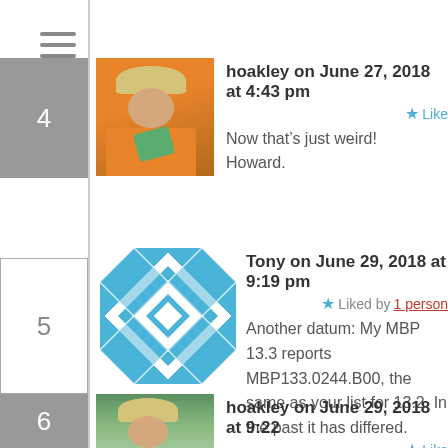[Figure (screenshot): Hamburger menu icon (three horizontal lines) in top left]
hoakley on June 27, 2018 at 4:43 pm
Like
Now that’s just weird!
Howard.
Tony on June 29, 2018 at 9:19 pm
Liked by 1 person
Another datum: My MBP 13.3 reports MBP133.0244.B00, the same as your list for 13.2. In the past it has differed.

High Sierra 10.13.5.
hoakley on June 29, 2018 at 9:22